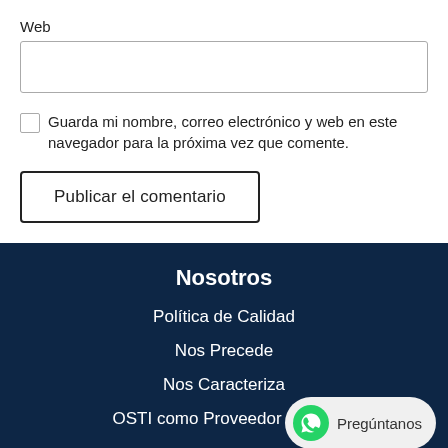Web
[Figure (other): Empty text input field for Web URL]
Guarda mi nombre, correo electrónico y web en este navegador para la próxima vez que comente.
Publicar el comentario
Nosotros
Política de Calidad
Nos Precede
Nos Caracteriza
OSTI como Proveedor Crítico
[Figure (other): WhatsApp contact button with text Pregúntanos]